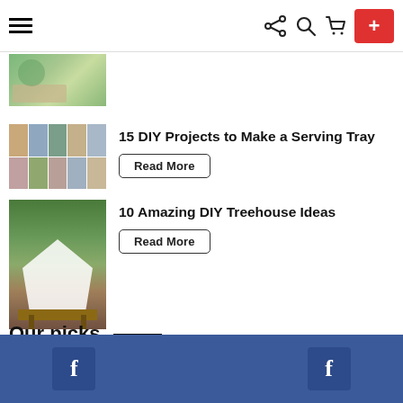Navigation header with hamburger menu, share, search, cart icons and red plus button
[Figure (photo): Thumbnail image of a garden/patio scene with plants and furniture]
[Figure (photo): Grid of 10 small thumbnail images showing various serving tray projects]
15 DIY Projects to Make a Serving Tray
Read More
[Figure (photo): Photo of a DIY treehouse with white tent-like structure built on wooden platform in trees]
10 Amazing DIY Treehouse Ideas
Read More
Our picks —
Facebook social sharing footer with two Facebook icons on blue background